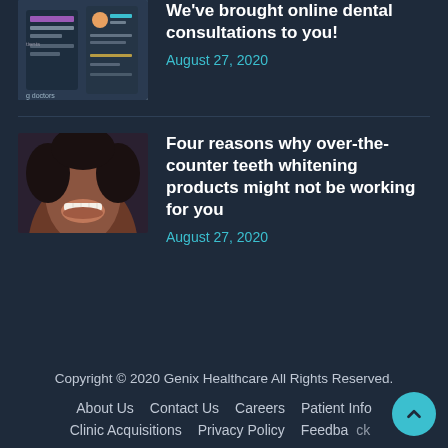[Figure (photo): Thumbnail image of app/cards with colored bars and avatars]
We've brought online dental consultations to you!
August 27, 2020
[Figure (photo): Close-up photo of a woman smiling showing teeth]
Four reasons why over-the-counter teeth whitening products might not be working for you
August 27, 2020
Copyright © 2020 Genix Healthcare All Rights Reserved.
About Us   Contact Us   Careers   Patient Info   Clinic Acquisitions   Privacy Policy   Feedback